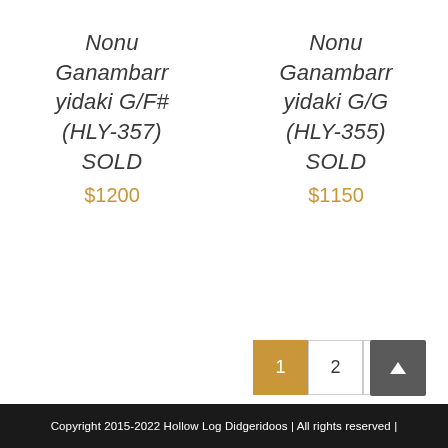Nonu Ganambarr yidaki G/F# (HLY-357) SOLD
$1200
Nonu Ganambarr yidaki G/G (HLY-355) SOLD
$1150
1 2 >
Copyright 2015-2022 Hollow Log Didgeridoos | All rights reserved |